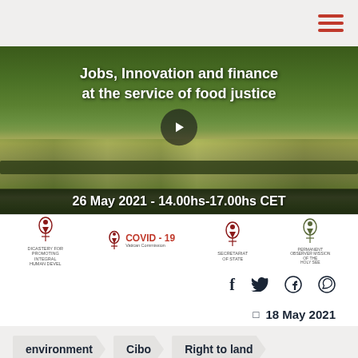[Figure (screenshot): Navigation hamburger menu icon with three red horizontal lines, top-right corner]
[Figure (photo): Hero banner image showing agricultural fields with text overlay: 'Jobs, Innovation and finance at the service of food justice' and date '26 May 2021 - 14.00hs-17.00hs CET', with a play button in the center]
[Figure (logo): Logos bar with four Vatican/Holy See related institutional logos including COVID-19 related logo]
[Figure (infographic): Social media icons: Facebook (f), Twitter (bird), WhatsApp]
18 May 2021
environment
Cibo
Right to land
Sicurezza
Donne
sustainability